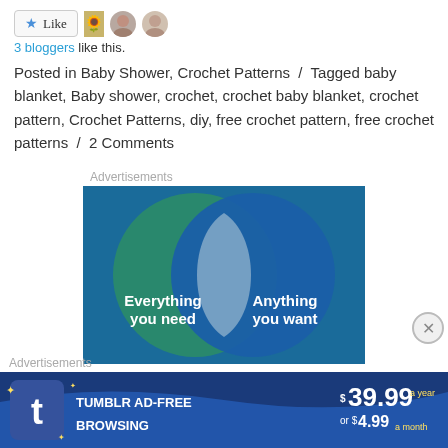[Figure (other): Like button with star icon and three blogger avatar images]
3 bloggers like this.
Posted in Baby Shower, Crochet Patterns / Tagged baby blanket, Baby shower, crochet, crochet baby blanket, crochet pattern, Crochet Patterns, diy, free crochet pattern, free crochet patterns / 2 Comments
Advertisements
[Figure (illustration): Advertisement showing a Venn diagram with teal and blue overlapping circles, text 'Everything you need' on left and 'Anything you want' on right]
Advertisements
[Figure (illustration): Tumblr Ad-Free Browsing advertisement banner showing $39.99 a year or $4.99 a month]